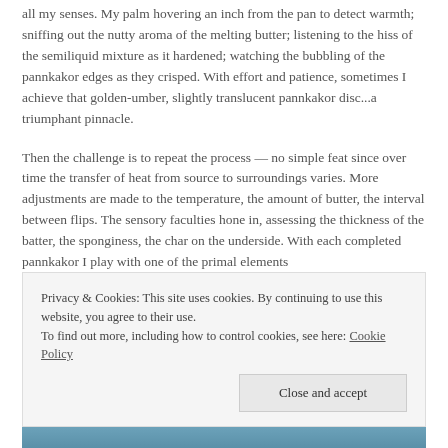all my senses. My palm hovering an inch from the pan to detect warmth; sniffing out the nutty aroma of the melting butter; listening to the hiss of the semiliquid mixture as it hardened; watching the bubbling of the pannkakor edges as they crisped. With effort and patience, sometimes I achieve that golden-umber, slightly translucent pannkakor disc...a triumphant pinnacle.
Then the challenge is to repeat the process — no simple feat since over time the transfer of heat from source to surroundings varies. More adjustments are made to the temperature, the amount of butter, the interval between flips. The sensory faculties hone in, assessing the thickness of the batter, the sponginess, the char on the underside. With each completed pannkakor I play with one of the primal elements
Privacy & Cookies: This site uses cookies. By continuing to use this website, you agree to their use.
To find out more, including how to control cookies, see here: Cookie Policy
Close and accept